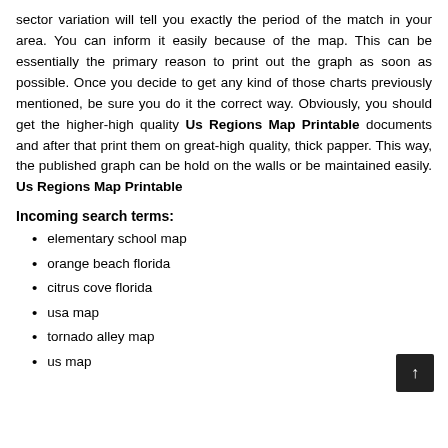sector variation will tell you exactly the period of the match in your area. You can inform it easily because of the map. This can be essentially the primary reason to print out the graph as soon as possible. Once you decide to get any kind of those charts previously mentioned, be sure you do it the correct way. Obviously, you should get the higher-high quality Us Regions Map Printable documents and after that print them on great-high quality, thick papper. This way, the published graph can be hold on the walls or be maintained easily. Us Regions Map Printable
Incoming search terms:
elementary school map
orange beach florida
citrus cove florida
usa map
tornado alley map
us map